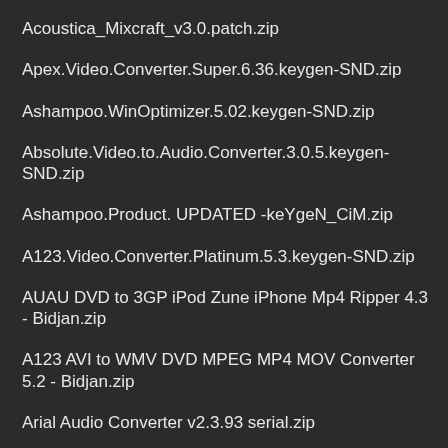Acoustica_Mixcraft_v3.0.patch.zip
Apex.Video.Converter.Super.6.36.keygen-SND.zip
Ashampoo.WinOptimizer.5.02.keygen-SND.zip
Absolute.Video.to.Audio.Converter.3.0.5.keygen-SND.zip
Ashampoo.Product. UPDATED -keYgeN_CiM.zip
A123.Video.Converter.Platinum.5.3.keygen-SND.zip
AUAU DVD to 3GP iPod Zune iPhone Mp4 Ripper 4.3 - Bidjan.zip
A123 AVI to WMV DVD MPEG MP4 MOV Converter 5.2 - Bidjan.zip
Arial Audio Converter v2.3.93 serial.zip